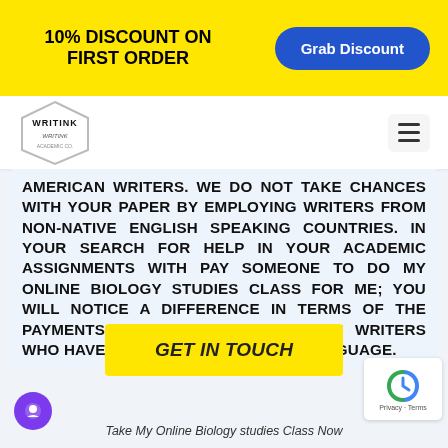10% DISCOUNT ON FIRST ORDER
[Figure (logo): Grab Discount button (blue rounded rectangle)]
[Figure (logo): WRITINK logo in hexagon shape]
AMERICAN WRITERS. WE DO NOT TAKE CHANCES WITH YOUR PAPER BY EMPLOYING WRITERS FROM NON-NATIVE ENGLISH SPEAKING COUNTRIES. IN YOUR SEARCH FOR HELP IN YOUR ACADEMIC ASSIGNMENTS WITH PAY SOMEONE TO DO MY ONLINE BIOLOGY STUDIES CLASS FOR ME; YOU WILL NOTICE A DIFFERENCE IN TERMS OF THE PAYMENTS. MOST WEBSITES USE THE WRITERS WHO HAVE ACQUIRED THE ENGLISH LANGUAGE.
[Figure (other): GET IN TOUCH yellow CTA button]
Take My Online Biology studies Class Now